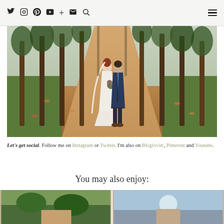Navigation bar with social icons: Twitter, Instagram, Pinterest, YouTube, Plus, Email, Search, Hamburger menu
[Figure (photo): Wedding couple standing on an autumn tree-lined path. Bride in white dress holding bouquet, groom in navy suit. Fallen orange leaves on ground.]
Let's get social. Follow me on Instagram or Twitter. I'm also on Bloglovin', Pinterest and Youtube.
You may also enjoy:
[Figure (photo): Two thumbnail images at the bottom of the page showing additional blog posts]
[Figure (photo): Second thumbnail image]